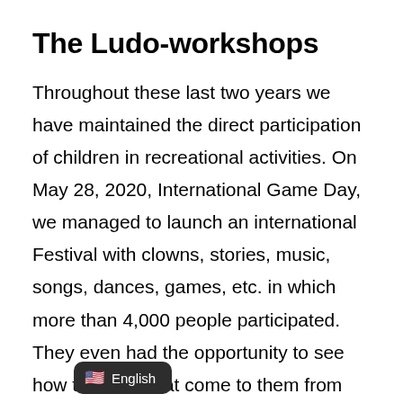The Ludo-workshops
Throughout these last two years we have maintained the direct participation of children in recreational activities. On May 28, 2020, International Game Day, we managed to launch an international Festival with clowns, stories, music, songs, dances, games, etc. in which more than 4,000 people participated. They even had the opportunity to see how the dolls that come to them from Spain are made!
English